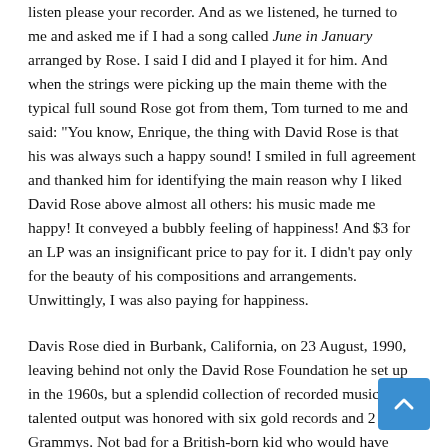listen please your recorder. And as we listened, he turned to me and asked me if I had a song called June in January arranged by Rose. I said I did and I played it for him. And when the strings were picking up the main theme with the typical full sound Rose got from them, Tom turned to me and said: "You know, Enrique, the thing with David Rose is that his was always such a happy sound! I smiled in full agreement and thanked him for identifying the main reason why I liked David Rose above almost all others: his music made me happy! It conveyed a bubbly feeling of happiness! And $3 for an LP was an insignificant price to pay for it. I didn't pay only for the beauty of his compositions and arrangements. Unwittingly, I was also paying for happiness.
Davis Rose died in Burbank, California, on 23 August, 1990, leaving behind not only the David Rose Foundation he set up in the 1960s, but a splendid collection of recorded music. His talented output was honored with six gold records and 2 Grammys. Not bad for a British-born kid who would have preferred to be a railroad engineer. Happily, he went the way...